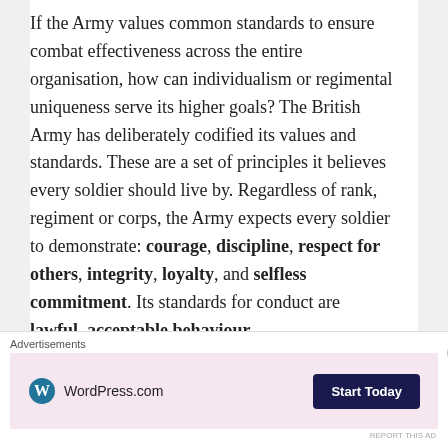If the Army values common standards to ensure combat effectiveness across the entire organisation, how can individualism or regimental uniqueness serve its higher goals? The British Army has deliberately codified its values and standards. These are a set of principles it believes every soldier should live by. Regardless of rank, regiment or corps, the Army expects every soldier to demonstrate: courage, discipline, respect for others, integrity, loyalty, and selfless commitment. Its standards for conduct are lawful, acceptable behaviour
Advertisements
[Figure (other): WordPress.com advertisement banner with logo on left and 'Start Today' button on right, pink/lavender background]